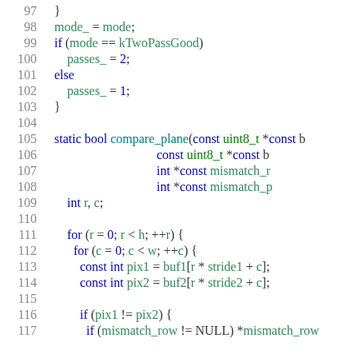[Figure (screenshot): Source code listing lines 97-117 of a C++ file showing a function body with mode/passes assignment and a static bool compare_plane function with nested for loops and pixel comparison logic.]